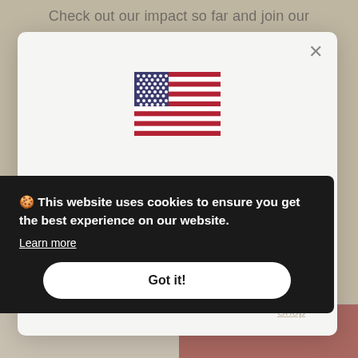Check out our impact so far and join our
[Figure (screenshot): US flag emoji icon displayed in the center of a modal dialog]
Twelve Silver Trees ships to United States
Shop in USD $
Get shipping options for United States
Shop now
Shop
🍪 This website uses cookies to ensure you get the best experience on our website.
Learn more
Got it!